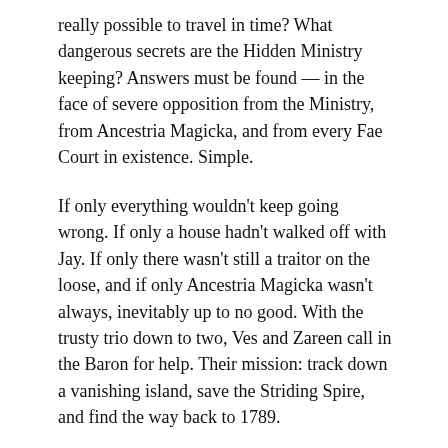really possible to travel in time? What dangerous secrets are the Hidden Ministry keeping? Answers must be found — in the face of severe opposition from the Ministry, from Ancestria Magicka, and from every Fae Court in existence. Simple.
If only everything wouldn't keep going wrong. If only a house hadn't walked off with Jay. If only there wasn't still a traitor on the loose, and if only Ancestria Magicka wasn't always, inevitably up to no good. With the trusty trio down to two, Ves and Zareen call in the Baron for help. Their mission: track down a vanishing island, save the Striding Spire, and find the way back to 1789.
Oh — and just what exactly has become of Jay...?
Review
This series just keeps getting better!